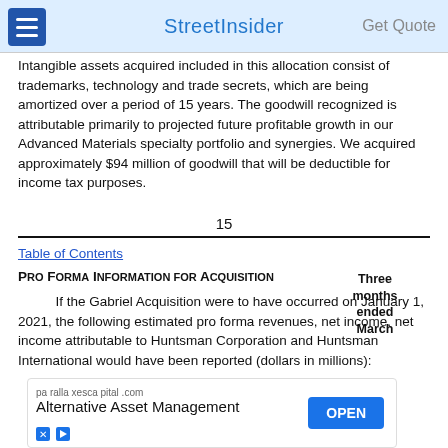StreetInsider
Intangible assets acquired included in this allocation consist of trademarks, technology and trade secrets, which are being amortized over a period of 15 years. The goodwill recognized is attributable primarily to projected future profitable growth in our Advanced Materials specialty portfolio and synergies. We acquired approximately $94 million of goodwill that will be deductible for income tax purposes.
15
Table of Contents
Pro Forma Information for Acquisition
If the Gabriel Acquisition were to have occurred on January 1, 2021, the following estimated pro forma revenues, net income, net income attributable to Huntsman Corporation and Huntsman International would have been reported (dollars in millions):
| Three months ended March |
| --- |